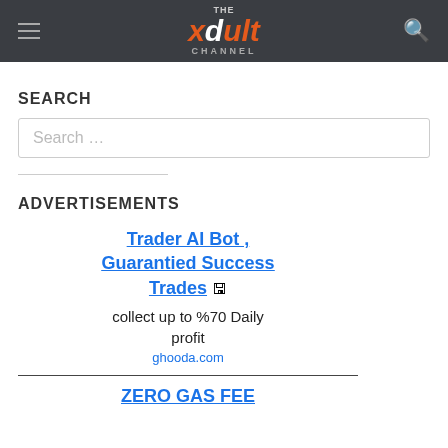THE xdult CHANNEL
SEARCH
Search …
ADVERTISEMENTS
Trader AI Bot , Guarantied Success Trades
collect up to %70 Daily profit
ghooda.com
ZERO GAS FEE